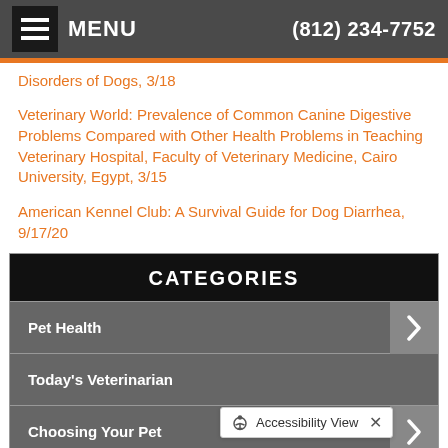MENU  (812) 234-7752
Disorders of Dogs, 3/18
Veterinary World: Prevalence of Common Canine Digestive Problems Compared with Other Health Problems in Teaching Veterinary Hospital, Faculty of Veterinary Medicine, Cairo University, Egypt, 3/15
American Kennel Club: A Survival Guide for Dog Diarrhea, 9/17/20
CATEGORIES
Pet Health
Today's Veterinarian
Choosing Your Pet